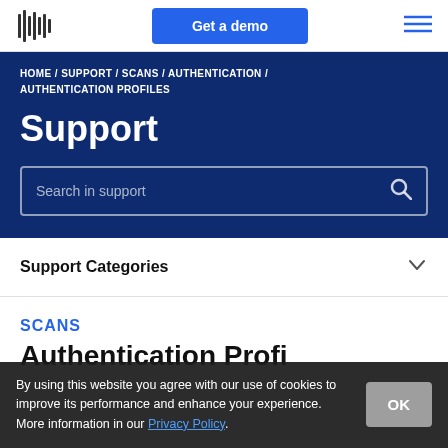Get a demo
HOME / SUPPORT / SCANS / AUTHENTICATION / AUTHENTICATION PROFILES
Support
Search in support
Support Categories
SCANS
Authentication Profiles
By using this website you agree with our use of cookies to improve its performance and enhance your experience. More information in our Privacy Policy.